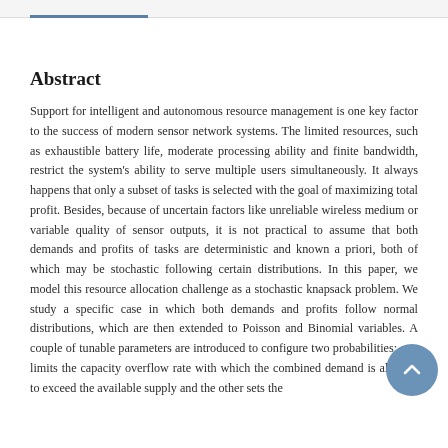Abstract
Support for intelligent and autonomous resource management is one key factor to the success of modern sensor network systems. The limited resources, such as exhaustible battery life, moderate processing ability and finite bandwidth, restrict the system's ability to serve multiple users simultaneously. It always happens that only a subset of tasks is selected with the goal of maximizing total profit. Besides, because of uncertain factors like unreliable wireless medium or variable quality of sensor outputs, it is not practical to assume that both demands and profits of tasks are deterministic and known a priori, both of which may be stochastic following certain distributions. In this paper, we model this resource allocation challenge as a stochastic knapsack problem. We study a specific case in which both demands and profits follow normal distributions, which are then extended to Poisson and Binomial variables. A couple of tunable parameters are introduced to configure two probabilities: one limits the capacity overflow rate with which the combined demand is allowed to exceed the available supply and the other sets the